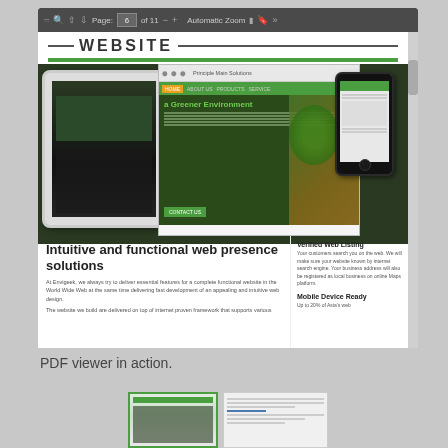[Figure (screenshot): Screenshot of a PDF viewer showing a website brochure page with the title WEBSITE, a green underline bar, and website mockups on tablet, desktop, and phone devices. The content includes sections on 'Intuitive and functional web presence solutions', 'Verified Web Listing', and 'Mobile Device Ready'.]
PDF viewer in action.
[Figure (screenshot): Two thumbnail images showing the PDF viewer content at smaller scale.]